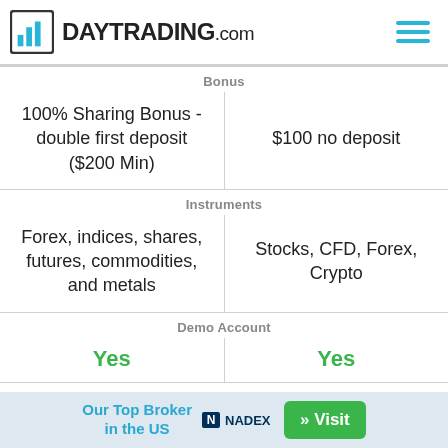DAYTRADING.com
| Bonus | Bonus |
| --- | --- |
| 100% Sharing Bonus - double first deposit ($200 Min) | $100 no deposit |
| Instruments | Instruments |
| Forex, indices, shares, futures, commodities, and metals | Stocks, CFD, Forex, Crypto |
| Demo Account | Demo Account |
| Yes | Yes |
| Minimum Deposit | Minimum Deposit |
| $100 | $10 |
Our Top Broker in the US  NADEX  » Visit